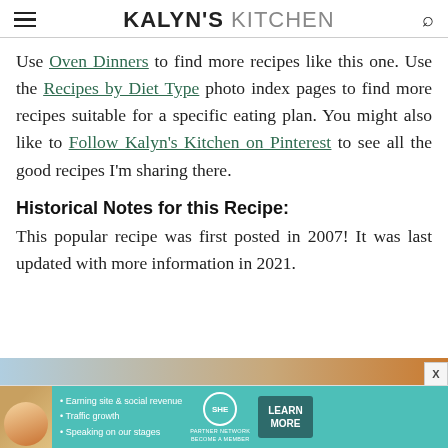KALYN'S KITCHEN
Use Oven Dinners to find more recipes like this one. Use the Recipes by Diet Type photo index pages to find more recipes suitable for a specific eating plan. You might also like to Follow Kalyn's Kitchen on Pinterest to see all the good recipes I'm sharing there.
Historical Notes for this Recipe:
This popular recipe was first posted in 2007! It was last updated with more information in 2021.
[Figure (photo): Partial food photo at bottom of page, partially obscured by ad banner]
[Figure (infographic): SHE Partner Network advertisement banner with woman photo, bullet points about earning site & social revenue, traffic growth, speaking on our stages, SHE logo, and LEARN MORE button]